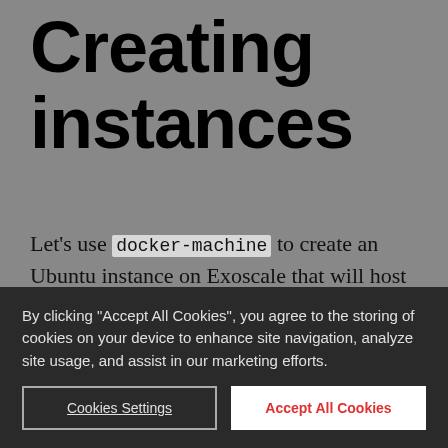Creating instances
Let's use docker-machine to create an Ubuntu instance on Exoscale that will host ELK:
docker-machine create --driver exoscale \
    --exoscale-api-key $CLOUDSTACK_KEY \
By clicking "Accept All Cookies", you agree to the storing of cookies on your device to enhance site navigation, analyze site usage, and assist in our marketing efforts.
Cookies Settings
Accept All Cookies